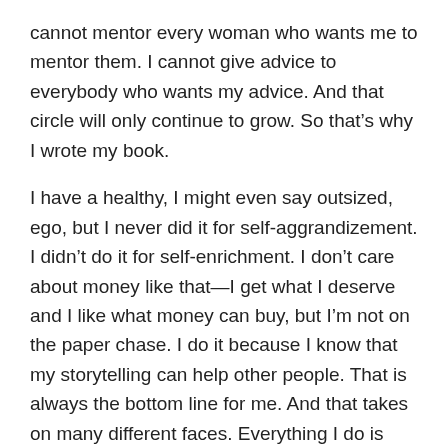cannot mentor every woman who wants me to mentor them. I cannot give advice to everybody who wants my advice. And that circle will only continue to grow. So that's why I wrote my book.
I have a healthy, I might even say outsized, ego, but I never did it for self-aggrandizement. I didn't do it for self-enrichment. I don't care about money like that—I get what I deserve and I like what money can buy, but I'm not on the paper chase. I do it because I know that my storytelling can help other people. That is always the bottom line for me. And that takes on many different faces. Everything I do is political.
LP: Do you consider yourself an activist?
SC: I absolutely consider myself an activist. I think that